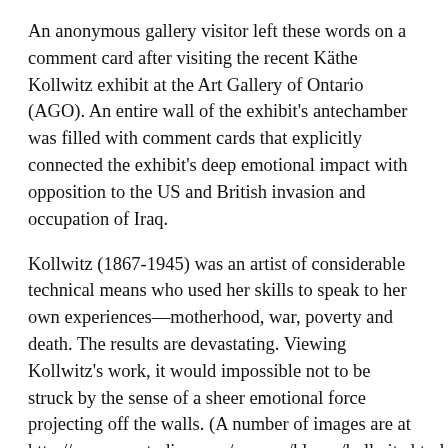An anonymous gallery visitor left these words on a comment card after visiting the recent Käthe Kollwitz exhibit at the Art Gallery of Ontario (AGO). An entire wall of the exhibit's antechamber was filled with comment cards that explicitly connected the exhibit's deep emotional impact with opposition to the US and British invasion and occupation of Iraq.
Kollwitz (1867-1945) was an artist of considerable technical means who used her skills to speak to her own experiences—motherhood, war, poverty and death. The results are devastating. Viewing Kollwitz's work, it would impossible not to be struck by the sense of a sheer emotional force projecting off the walls. (A number of images are at http://www.mystudios.com/women/klmno/kollwitz.html, http://www.dhm.de/museen/kollwitz/english/works.htm, and http://www.humanitiesweb.org/cgi-bin/human.cgi?